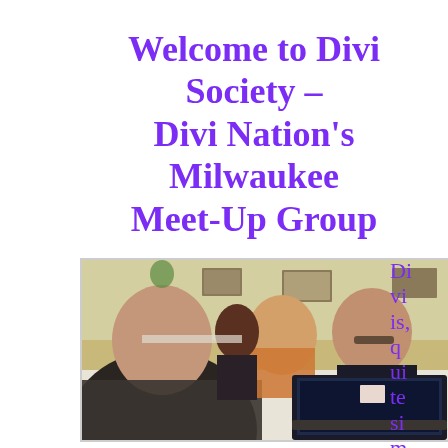Welcome to Divi Society – Divi Nation's Milwaukee Meet-Up Group
[Figure (photo): Photo of people at a meet-up event, two men looking at a laptop computer at a table, with other attendees visible in the background in what appears to be a restaurant or banquet room.]
Divi is, quite simply...